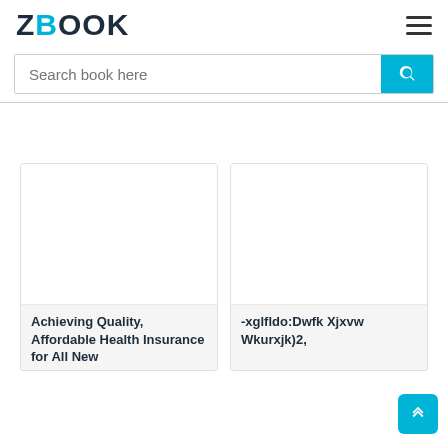ZBOOK
Search book here
[Figure (screenshot): Book card image placeholder (blank white area) - left card]
Achieving Quality, Affordable Health Insurance for All New
[Figure (screenshot): Book card image placeholder (blank white area) - right card]
-xglfldo:Dwfk Xjxvw Wkurxjk)2,